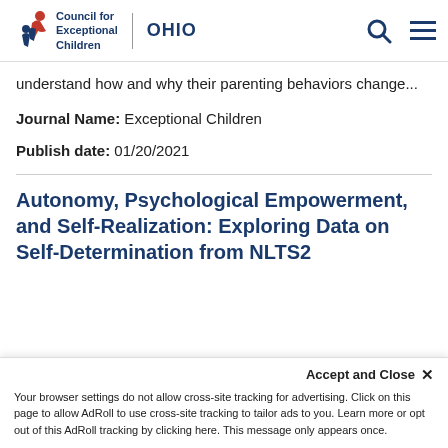Council for Exceptional Children | OHIO
understand how and why their parenting behaviors change...
Journal Name: Exceptional Children
Publish date: 01/20/2021
Autonomy, Psychological Empowerment, and Self-Realization: Exploring Data on Self-Determination from NLTS2
Accept and Close ×
Your browser settings do not allow cross-site tracking for advertising. Click on this page to allow AdRoll to use cross-site tracking to tailor ads to you. Learn more or opt out of this AdRoll tracking by clicking here. This message only appears once.